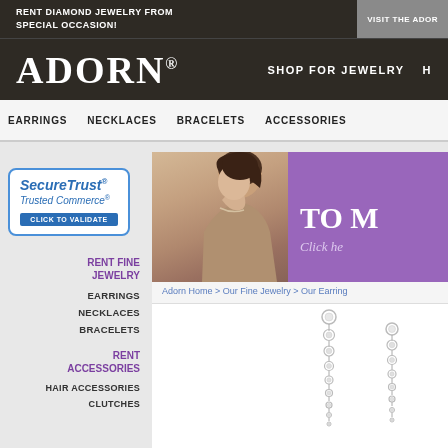RENT DIAMOND JEWELRY FROM VISIT THE ADORN SPECIAL OCCASION!
ADORN®
SHOP FOR JEWELRY
EARRINGS  NECKLACES  BRACELETS  ACCESSORIES
[Figure (logo): SecureTrust Trusted Commerce CLICK TO VALIDATE badge]
RENT FINE JEWELRY
EARRINGS
NECKLACES
BRACELETS
RENT ACCESSORIES
HAIR ACCESSORIES
CLUTCHES
[Figure (photo): Hero banner with woman wearing diamond necklace on purple background with text 'TO M' and 'Click he']
Adorn Home > Our Fine Jewelry > Our Earring
[Figure (photo): Two diamond tennis earrings displayed on white background]